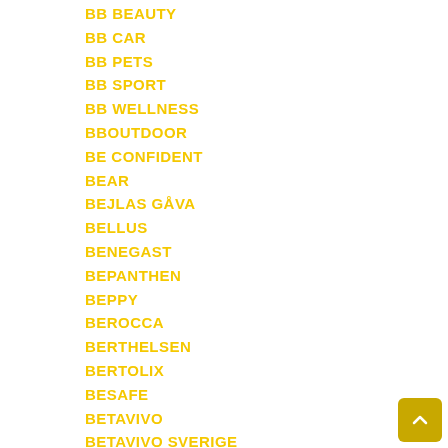BB BEAUTY
BB CAR
BB PETS
BB SPORT
BB WELLNESS
BBOUTDOOR
BE CONFIDENT
BEAR
BEJLAS GÅVA
BELLUS
BENEGAST
BEPANTHEN
BEPPY
BEROCCA
BERTHELSEN
BERTOLIX
BESAFE
BETAVIVO
BETAVIVO SVERIGE
BETER
BETOLVIDON
BETTER BODIES
BETTER THAN FOODS